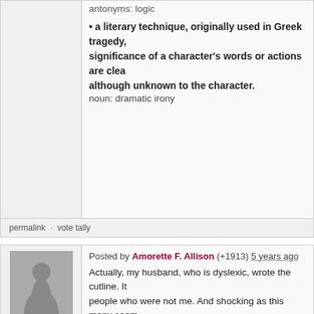antonyms: logic
• a literary technique, originally used in Greek tragedy, significance of a character's words or actions are clear although unknown to the character.
noun: dramatic irony
permalink · vote tally
Posted by Amorette F. Allison (+1913) 5 years ago
Actually, my husband, who is dyslexic, wrote the cutline. It people who were not me. And shocking as this many seem the time. I am FAR from perfect. If you were hoping to hurt made MUCH worse mistakes and will no doubt continue to also own up to them but this one is not mine. Steve has a because of his dyslexia and your pointing it out is actually really hard.
permalink · vote tally
Posted by Shu (+1791) 5 years ago